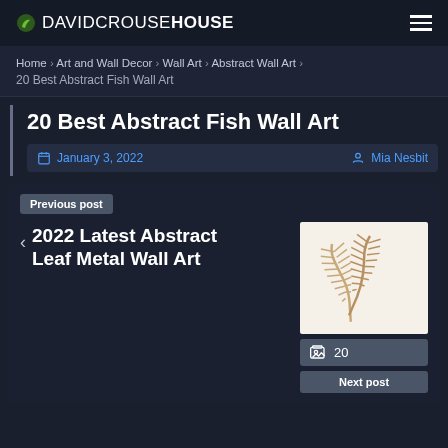DAVIDCROUSEHOUSE
Home › Art and Wall Decor › Wall Art › Abstract Wall Art › 20 Best Abstract Fish Wall Art
20 Best Abstract Fish Wall Art
January 3, 2022   Mia Nesbit
Previous post
‹ 2022 Latest Abstract Leaf Metal Wall Art
[Figure (photo): Two metallic leaf-shaped sculptures in gold/bronze color on white background]
20
Next post